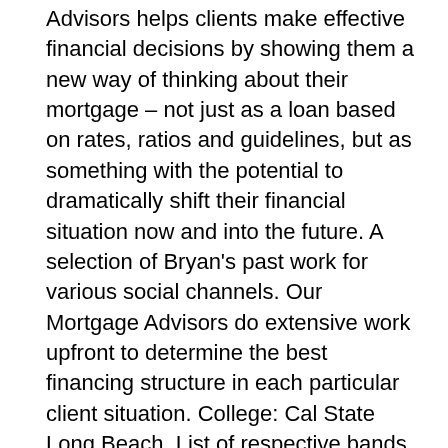Advisors helps clients make effective financial decisions by showing them a new way of thinking about their mortgage – not just as a loan based on rates, ratios and guidelines, but as something with the potential to dramatically shift their financial situation now and into the future. A selection of Bryan's past work for various social channels. Our Mortgage Advisors do extensive work upfront to determine the best financing structure in each particular client situation. College: Cal State Long Beach. List of respective bands, albums and the role produced by Bryan Russell, Last edited on 19 November 2020, at 20:50, And Our Heart Beat in Our Fingertips Without Reason, Bryan Russell Producer 2014 projects with the band, The Narrative: Bellmore duo working on new album, https://en.wikipedia.org/w/index.php?title=Bryan_Russell&oldid=989582998, Creative Commons Attribution-ShareAlike License, Official Bootleg: When Dream And Day Reunite, Additional Personnel, Audio Engineer, Audio Production, Engineer, Glockenspiel,